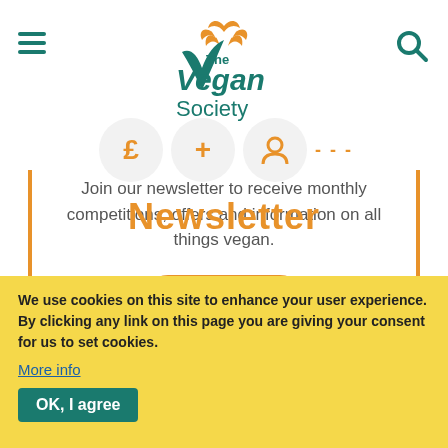[Figure (logo): The Vegan Society logo with teal leaf/crown icon and teal text]
[Figure (infographic): Three circular icons with pound sign, plus sign, and person/account icon, followed by dashes, over an orange 'Newsletter' heading]
Join our newsletter to receive monthly competitions, offers and information on all things vegan.
[Figure (other): Orange rounded 'Join' button]
We use cookies on this site to enhance your user experience. By clicking any link on this page you are giving your consent for us to set cookies.
More info
OK, I agree